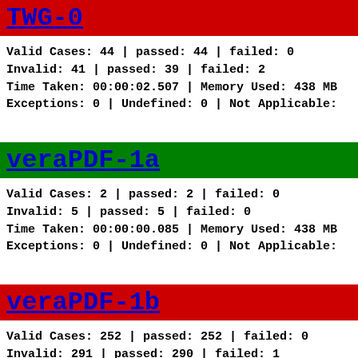TWG-0
Valid Cases: 44 | passed: 44 | failed: 0
Invalid: 41 | passed: 39 | failed: 2
Time Taken: 00:00:02.507 | Memory Used: 438 MB
Exceptions: 0 | Undefined: 0 | Not Applicable:
veraPDF-1a
Valid Cases: 2 | passed: 2 | failed: 0
Invalid: 5 | passed: 5 | failed: 0
Time Taken: 00:00:00.085 | Memory Used: 438 MB
Exceptions: 0 | Undefined: 0 | Not Applicable:
veraPDF-1b
Valid Cases: 252 | passed: 252 | failed: 0
Invalid: 291 | passed: 290 | failed: 1
Time Taken: 00:00:04.980 | Memory Used: 896 MB
Exceptions: 0 | Undefined: 0 | Not Applicable: